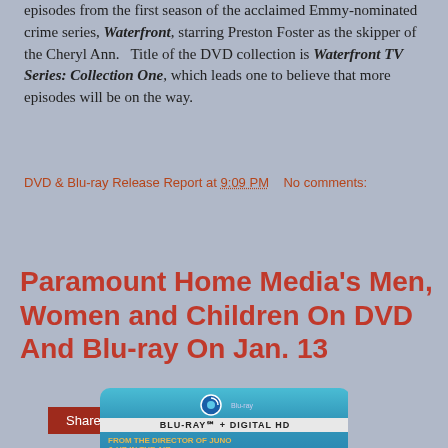episodes from the first season of the acclaimed Emmy-nominated crime series, Waterfront, starring Preston Foster as the skipper of the Cheryl Ann. Title of the DVD collection is Waterfront TV Series: Collection One, which leads one to believe that more episodes will be on the way.
DVD & Blu-ray Release Report at 9:09 PM   No comments:
Share
Paramount Home Media's Men, Women and Children On DVD And Blu-ray On Jan. 13
[Figure (photo): DVD/Blu-ray box art for Men, Women and Children. Blue Blu-ray case with Blu-ray + Digital HD label, showing text 'FROM THE DIRECTOR OF JUNO & UP IN THE AIR' and 'MEN,' with partial movie imagery.]